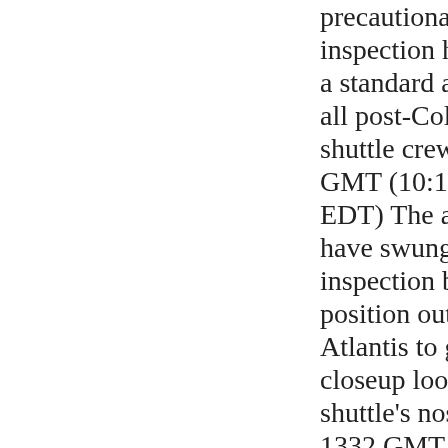precautionary safety inspection has become a standard activity for all post-Columbia shuttle crews. 1410 GMT (10:10 a.m. EDT) The astronauts have swung the inspection boom into position out in front of Atlantis to get a closeup look on the shuttle's nose cap. 1332 GMT (9:32 a.m. EDT) Inspections of space shuttle Atlantis'